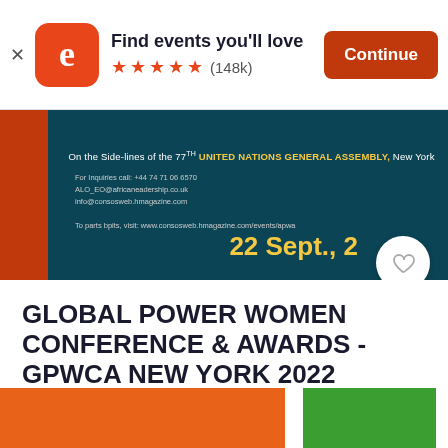[Figure (screenshot): Eventbrite app banner with logo, tagline 'Find events you'll love', 5 orange stars, (148k) reviews, and a Continue button]
[Figure (photo): Dark teal banner for Global Power Women Conference & Awards event showing 77th UN General Assembly reference, contact information, and date '22 Sept.' with heart/favorite button]
GLOBAL POWER WOMEN CONFERENCE & AWARDS - GPWCA NEW YORK 2022
Thu, Sep 22, 12:00 PM
New York • New York, NY
Free
[Figure (other): Bottom colored bar with orange, white gap, and green sections]